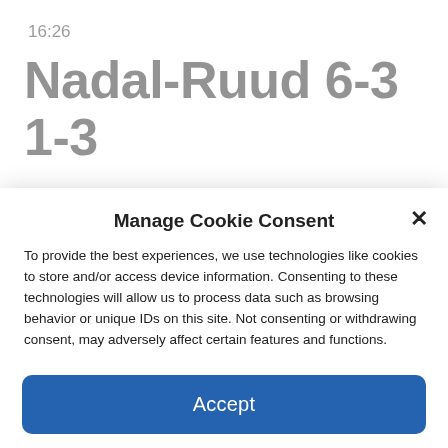16:26
Nadal-Ruud 6-3 1-3
What a defense from Casper Ruud who reverses the trend in the exchange with an
Manage Cookie Consent
To provide the best experiences, we use technologies like cookies to store and/or access device information. Consenting to these technologies will allow us to process data such as browsing behavior or unique IDs on this site. Not consenting or withdrawing consent, may adversely affect certain features and functions.
Accept
Cookie Policy